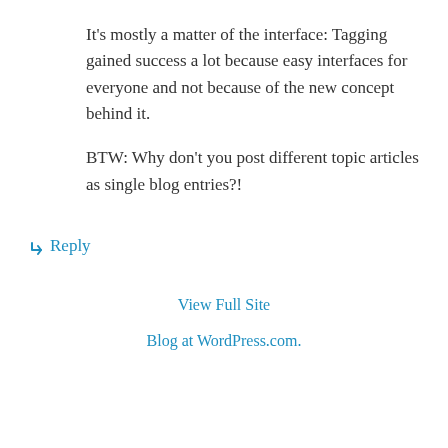It's mostly a matter of the interface: Tagging gained success a lot because easy interfaces for everyone and not because of the new concept behind it.
BTW: Why don't you post different topic articles as single blog entries?!
↳ Reply
View Full Site
Blog at WordPress.com.